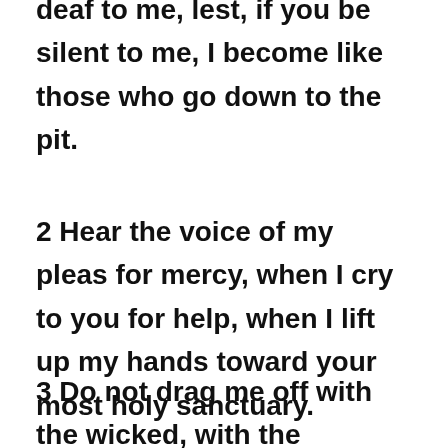deaf to me, lest, if you be silent to me, I become like those who go down to the pit.
2 Hear the voice of my pleas for mercy, when I cry to you for help, when I lift up my hands toward your most holy sanctuary.
3 Do not drag me off with the wicked, with the workers of evil, who speak peace with